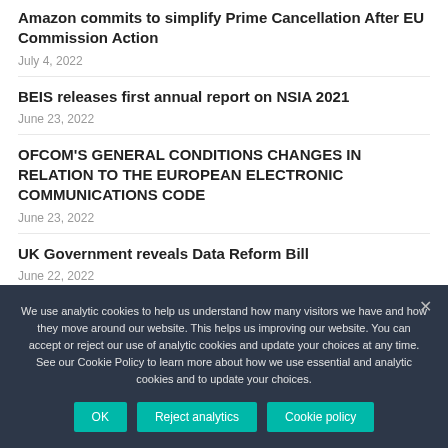Amazon commits to simplify Prime Cancellation After EU Commission Action
July 4, 2022
BEIS releases first annual report on NSIA 2021
June 23, 2022
OFCOM'S GENERAL CONDITIONS CHANGES IN RELATION TO THE EUROPEAN ELECTRONIC COMMUNICATIONS CODE
June 23, 2022
UK Government reveals Data Reform Bill
June 22, 2022
We use analytic cookies to help us understand how many visitors we have and how they move around our website. This helps us improving our website. You can accept or reject our use of analytic cookies and update your choices at any time. See our Cookie Policy to learn more about how we use essential and analytic cookies and to update your choices.